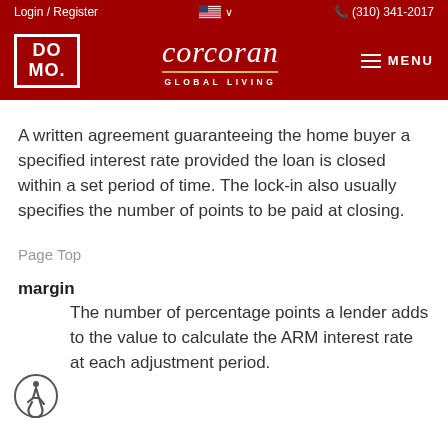Login / Register  (310) 341-2017
[Figure (logo): DOMO MO logo box and Corcoran Global Living script logo on dark red background with hamburger menu]
A written agreement guaranteeing the home buyer a specified interest rate provided the loan is closed within a set period of time. The lock-in also usually specifies the number of points to be paid at closing.
Page Top
margin
The number of percentage points a lender adds to the value to calculate the ARM interest rate at each adjustment period.